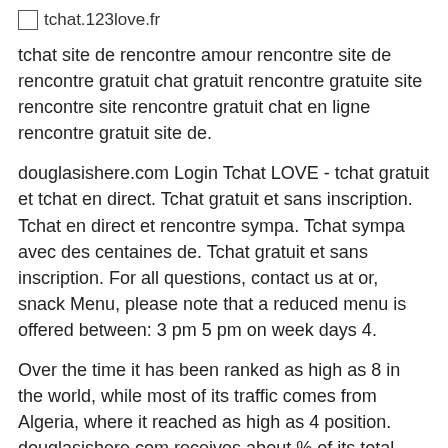[Figure (logo): Small image icon placeholder followed by text 'tchat.123love.fr']
tchat site de rencontre amour rencontre site de rencontre gratuit chat gratuit rencontre gratuite site rencontre site rencontre gratuit chat en ligne rencontre gratuit site de.
douglasishere.com Login Tchat LOVE - tchat gratuit et tchat en direct. Tchat gratuit et sans inscription. Tchat en direct et rencontre sympa. Tchat sympa avec des centaines de. Tchat gratuit et sans inscription. For all questions, contact us at or, snack Menu, please note that a reduced menu is offered between: 3 pm 5 pm on week days 4.
Over the time it has been ranked as high as 8 in the world, while most of its traffic comes from Algeria, where it reached as high as 4 position. douglasishere.com receives about % of its total traffic. It was owned by several entities, from CFRNIC to COMDAB, it was hosted by OVH SAS,